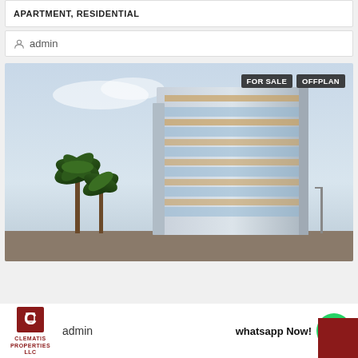APARTMENT, RESIDENTIAL
admin
[Figure (photo): Architectural rendering of a modern mid-rise apartment building with glass balconies and palm trees, labeled FOR SALE and OFFPLAN]
CLEMATIS PROPERTIES LLC  admin  whatsapp Now!